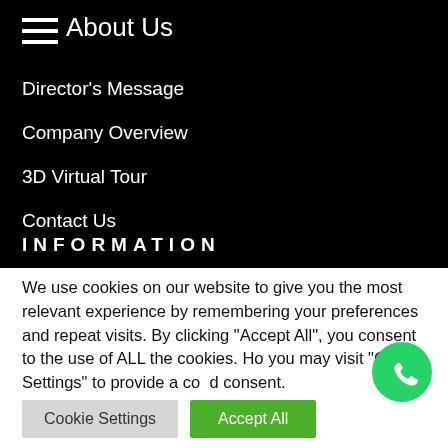About Us
Director's Message
Company Overview
3D Virtual Tour
Contact Us
INFORMATION
We use cookies on our website to give you the most relevant experience by remembering your preferences and repeat visits. By clicking “Accept All”, you consent to the use of ALL the cookies. Ho you may visit "Cookie Settings" to provide a co d consent.
Cookie Settings   Accept All